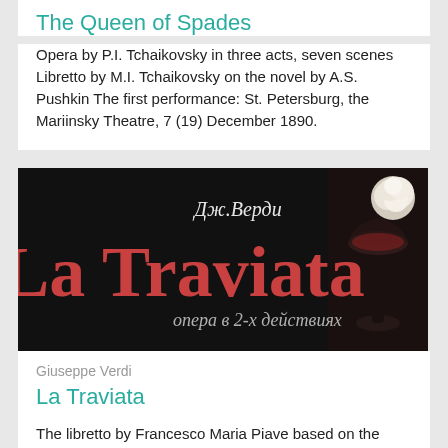The Queen of Spades
Opera by P.I. Tchaikovsky in three acts, seven scenes Libretto by M.I. Tchaikovsky on the novel by A.S. Pushkin The first performance: St. Petersburg, the Mariinsky Theatre, 7 (19) December 1890.
[Figure (photo): Promotional poster for La Traviata opera with dark background, large red text 'La Traviata', Russian subtitle text 'опера в 2-х действиях', cursive Russian text 'Дж.Верди' at top, and a wine glass with white carnation on the right]
Giuseppe Verdi
La Traviata
The libretto by Francesco Maria Piave based on the drama by Alexandre Dumas (fils) "The Lady of the Camellias". The first performance: Venice Theatre "La...